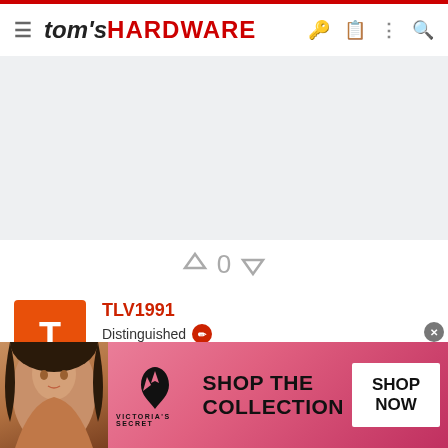tom's HARDWARE — navigation header
[Figure (other): Advertisement placeholder area (light gray background)]
↑ 0 ↓ (vote controls)
[Figure (other): User avatar: orange square with letter T]
TLV1991
Distinguished
Mar 9, 2015   20   1   18,525   1
[Figure (other): Victoria's Secret advertisement banner at bottom: woman photo, VS logo, SHOP THE COLLECTION, SHOP NOW button]